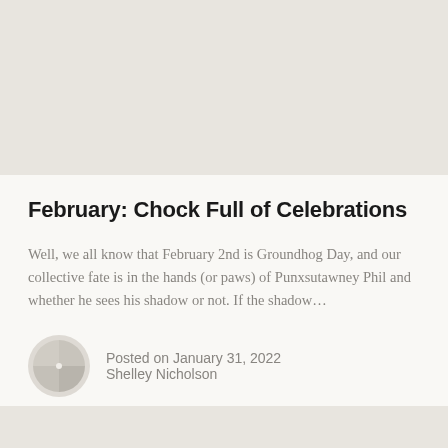[Figure (photo): Light grey/beige image band at top of page]
February: Chock Full of Celebrations
Well, we all know that February 2nd is Groundhog Day, and our collective fate is in the hands (or paws) of Punxsutawney Phil and whether he sees his shadow or not. If the shadow…
Posted on January 31, 2022
Shelley Nicholson
Read more
[Figure (photo): Light grey/beige image band at bottom of page]